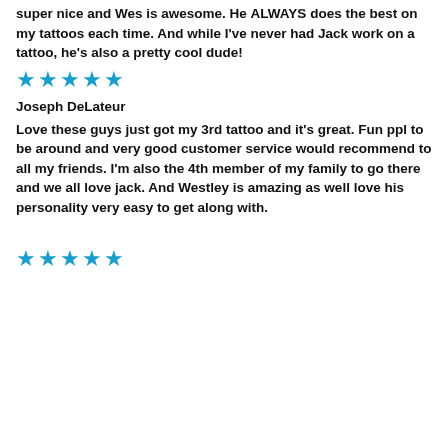super nice and Wes is awesome. He ALWAYS does the best on my tattoos each time. And while I've never had Jack work on a tattoo, he's also a pretty cool dude!
[Figure (other): 5 blue stars rating]
Joseph DeLateur
Love these guys just got my 3rd tattoo and it's great. Fun ppl to be around and very good customer service would recommend to all my friends. I'm also the 4th member of my family to go there and we all love jack. And Westley is amazing as well love his personality very easy to get along with.
[Figure (other): 5 blue stars rating]